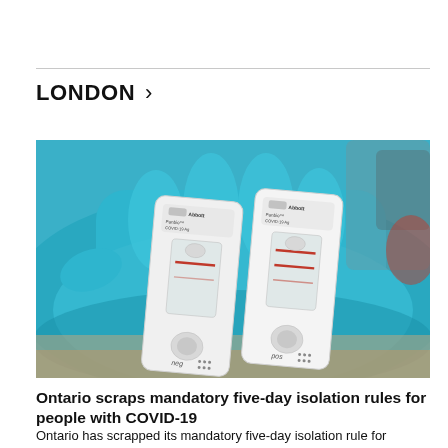LONDON >
[Figure (photo): A blue-gloved hand holding two Abbott Panbio COVID-19 Ag rapid antigen test cassettes, one labeled 'neg' and one labeled 'pos', against a blurred background.]
Ontario scraps mandatory five-day isolation rules for people with COVID-19
Ontario has scrapped its mandatory five-day isolation rule for individuals who test positive for COVID-19 as part of an [all